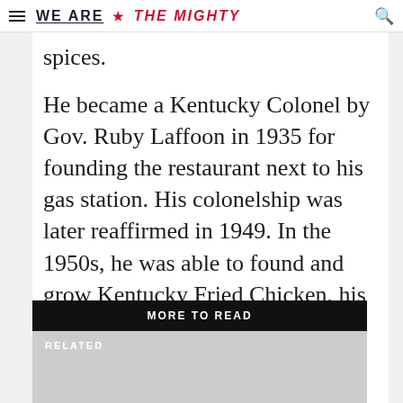WE ARE ★ THE MIGHTY
spices.
He became a Kentucky Colonel by Gov. Ruby Laffoon in 1935 for founding the restaurant next to his gas station. His colonelship was later reaffirmed in 1949. In the 1950s, he was able to found and grow Kentucky Fried Chicken, his claim to fame. The days of shootouts with the competition long behind him.
MORE TO READ
RELATED